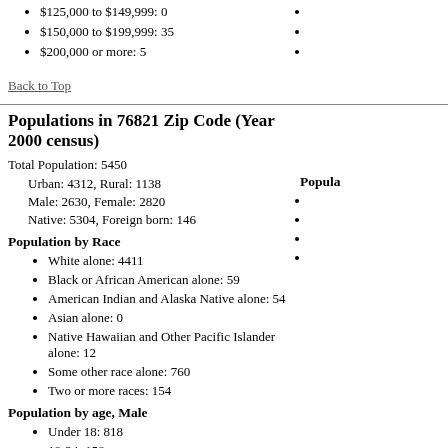$125,000 to $149,999: 0
$150,000 to $199,999: 35
$200,000 or more: 5
Back to Top
Populations in 76821 Zip Code (Year 2000 census)
Total Population: 5450
Urban: 4312, Rural: 1138
Male: 2630, Female: 2820
Native: 5304, Foreign born: 146
Population by Race
White alone: 4411
Black or African American alone: 59
American Indian and Alaska Native alone: 54
Asian alone: 0
Native Hawaiian and Other Pacific Islander alone: 12
Some other race alone: 760
Two or more races: 154
Population by age, Male
Under 18: 818
18-24: 158
25-34: 306
35-44: 370
45-64: 580